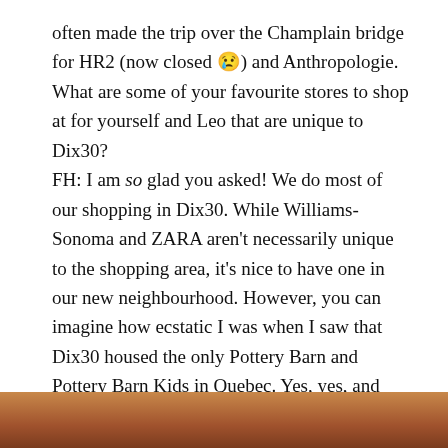often made the trip over the Champlain bridge for HR2 (now closed 😢) and Anthropologie. What are some of your favourite stores to shop at for yourself and Leo that are unique to Dix30?
FH: I am so glad you asked! We do most of our shopping in Dix30. While Williams-Sonoma and ZARA aren't necessarily unique to the shopping area, it's nice to have one in our new neighbourhood. However, you can imagine how ecstatic I was when I saw that Dix30 housed the only Pottery Barn and Pottery Barn Kids in Quebec. Yes, yes, and yes! Also, I frequently visit Mahée, which is a beautiful fashion boutique owned by the incredible Mahée Paiement herself.
[Figure (photo): Bottom strip showing the top edge of a photograph, appears to show wooden or brown-toned objects, partially visible at the bottom of the page.]